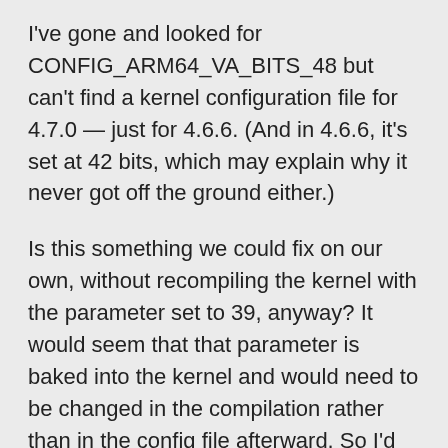I've gone and looked for CONFIG_ARM64_VA_BITS_48 but can't find a kernel configuration file for 4.7.0 — just for 4.6.6. (And in 4.6.6, it's set at 42 bits, which may explain why it never got off the ground either.)
Is this something we could fix on our own, without recompiling the kernel with the parameter set to 39, anyway? It would seem that that parameter is baked into the kernel and would need to be changed in the compilation rather than in the config file afterward. So I'd think